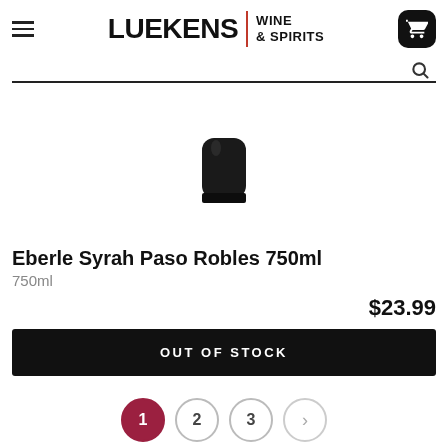LUEKENS | WINE & SPIRITS
[Figure (photo): Bottom portion of a dark wine bottle with black cap/closure, on white background]
Eberle Syrah Paso Robles 750ml
750ml
$23.99
OUT OF STOCK
1 2 3 >